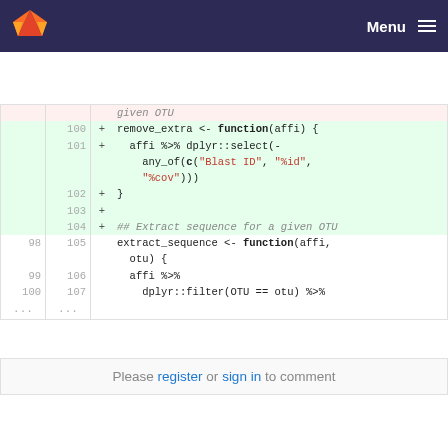Menu
[Figure (screenshot): GitLab diff view showing R code additions for remove_extra and extract_sequence functions with line numbers]
Please register or sign in to comment